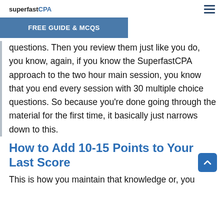superfastCPA
FREE GUIDE & MCQS
questions. Then you review them just like you do, you know, again, if you know the SuperfastCPA approach to the two hour main session, you know that you end every session with 30 multiple choice questions. So because you're done going through the material for the first time, it basically just narrows down to this.
How to Add 10-15 Points to Your Last Score
This is how you maintain that knowledge or, you